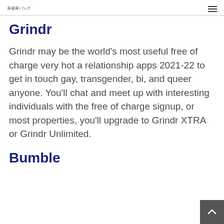美容家パンク
Grindr
Grindr may be the world's most useful free of charge very hot a relationship apps 2021-22 to get in touch gay, transgender, bi, and queer anyone. You'll chat and meet up with interesting individuals with the free of charge signup, or most properties, you'll upgrade to Grindr XTRA or Grindr Unlimited.
Bumble